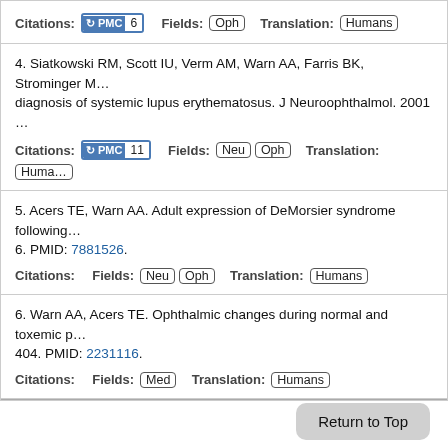Citations: PMC 6   Fields: Oph   Translation: Humans
4. Siatkowski RM, Scott IU, Verm AM, Warn AA, Farris BK, Strominger M... diagnosis of systemic lupus erythematosus. J Neuroophthalmol. 2001 ...
Citations: PMC 11   Fields: Neu Oph   Translation: Huma...
5. Acers TE, Warn AA. Adult expression of DeMorsier syndrome following... 6. PMID: 7881526.
Citations:   Fields: Neu Oph   Translation: Humans
6. Warn AA, Acers TE. Ophthalmic changes during normal and toxemic p... 404. PMID: 2231116.
Citations:   Fields: Med   Translation: Humans
Return to Top